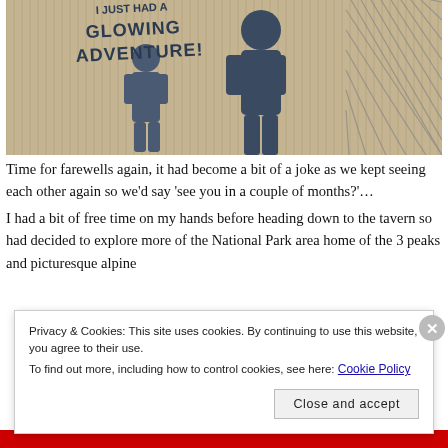[Figure (photo): A photo of a mural on a corrugated metal wall showing silhouetted figures and text reading 'I JUST HAD A GLOWING ADVENTURE!' in large handwritten-style letters.]
Time for farewells again, it had become a bit of a joke as we kept seeing each other again so we'd say 'see you in a couple of months?'…
I had a bit of free time on my hands before heading down to the tavern so had decided to explore more of the National Park area home of the 3 peaks and picturesque alpine
Privacy & Cookies: This site uses cookies. By continuing to use this website, you agree to their use.
To find out more, including how to control cookies, see here: Cookie Policy